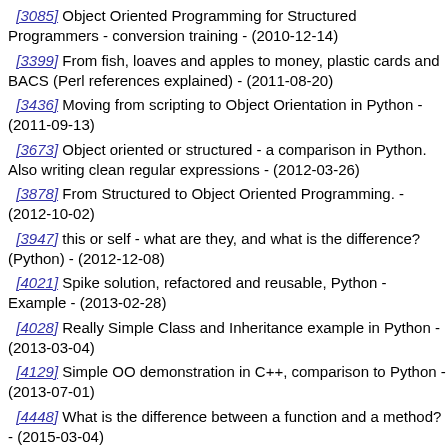[3085] Object Oriented Programming for Structured Programmers - conversion training - (2010-12-14)
[3399] From fish, loaves and apples to money, plastic cards and BACS (Perl references explained) - (2011-08-20)
[3436] Moving from scripting to Object Orientation in Python - (2011-09-13)
[3673] Object oriented or structured - a comparison in Python. Also writing clean regular expressions - (2012-03-26)
[3878] From Structured to Object Oriented Programming. - (2012-10-02)
[3947] this or self - what are they, and what is the difference? (Python) - (2012-12-08)
[4021] Spike solution, refactored and reusable, Python - Example - (2013-02-28)
[4028] Really Simple Class and Inheritance example in Python - (2013-03-04)
[4129] Simple OO demonstration in C++, comparison to Python - (2013-07-01)
[4448] What is the difference between a function and a method? - (2015-03-04)
[4591] From single block to structure and object oriented programming - (2015-12-02)
[4650] Why populate object with values as you construct them? - (2016-02-18)
[4721] When to check an object type - Python isinstance example - (2016-11-03)
T245 - Tcl/Tk - [incr-Tcl]
[390] Object Orientation in Tcl - [incr-Tcl] - (2005-04-24)